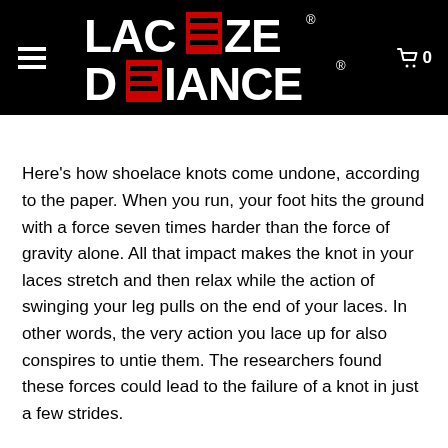[Figure (logo): Laceeze Defiance logo in white and red on black background, with hamburger menu icon on left and cart icon with '0' on right]
Here's how shoelace knots come undone, according to the paper. When you run, your foot hits the ground with a force seven times harder than the force of gravity alone. All that impact makes the knot in your laces stretch and then relax while the action of swinging your leg pulls on the end of your laces. In other words, the very action you lace up for also conspires to untie them. The researchers found these forces could lead to the failure of a knot in just a few strides.